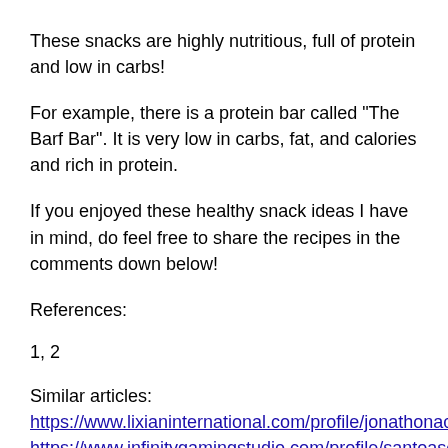These snacks are highly nutritious, full of protein and low in carbs!
For example, there is a protein bar called "The Barf Bar". It is very low in carbs, fat, and calories and rich in protein.
If you enjoyed these healthy snack ideas I have in mind, do feel free to share the recipes in the comments down below!
References:
1, 2
Similar articles:
https://www.lixianinternational.com/profile/jonathonaccurso196166/profile
https://www.infinitygamingstudio.com/profile/santoaschbacher147625/profile